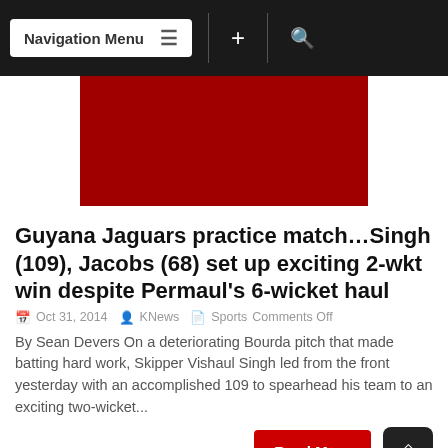Navigation Menu
[Figure (other): Red banner/header image area]
Guyana Jaguars practice match…Singh (109), Jacobs (68) set up exciting 2-wkt win despite Permaul's 6-wicket haul
Oct 31, 2014  KNews  Sports Comments Off
By Sean Devers On a deteriorating Bourda pitch that made batting hard work, Skipper Vishaul Singh led from the front yesterday with an accomplished 109 to spearhead his team to an exciting two-wicket...
Read More